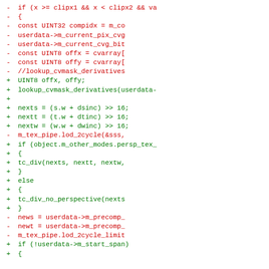Diff/patch view of source code changes involving texture coordinate and LOD pipeline logic.